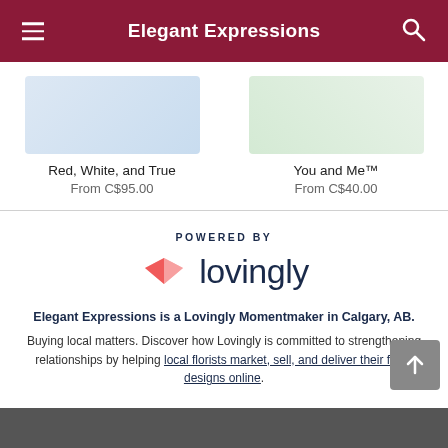Elegant Expressions
Red, White, and True
From C$95.00
You and Me™
From C$40.00
[Figure (logo): Powered by Lovingly logo with pink heart/envelope icon and dark blue wordmark]
Elegant Expressions is a Lovingly Momentmaker in Calgary, AB.
Buying local matters. Discover how Lovingly is committed to strengthening relationships by helping local florists market, sell, and deliver their floral designs online.